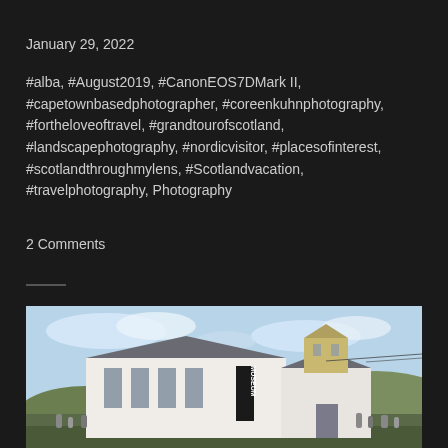January 29, 2022
#alba, #August2019, #CanonEOS7DMark II, #capetownbasedphotographer, #coreenkuhnphotography, #fortheloveoftravel, #grandtourofscotland, #landscapephotography, #nordicvisitor, #placesofinterest, #scotlandthroughmylens, #Scotlandvacation, #travelphotography, Photography
2 Comments
[Figure (photo): A white Scottish church/museum building with a bell tower, slate roof, and surrounding graveyard with headstones, under a partly cloudy blue sky with green hills in the background. A vertical sign reading 'MUSEUM' is visible on the building facade.]